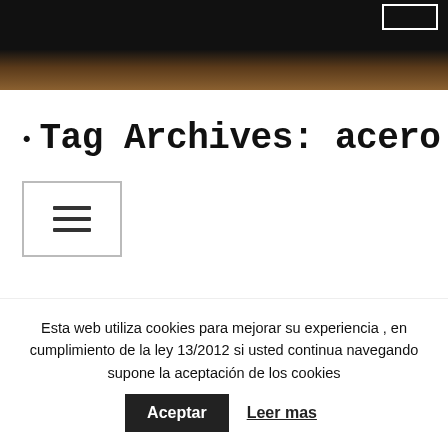[Figure (photo): Dark header banner image with black top portion transitioning to warm brown/golden tones at the bottom, with a small rectangular button outline in the top right corner.]
· Tag Archives: acero
[Figure (other): Hamburger menu button icon (three horizontal lines) inside a rectangular bordered box.]
Esta web utiliza cookies para mejorar su experiencia , en cumplimiento de la ley 13/2012 si usted continua navegando supone la aceptación de los cookies
Aceptar   Leer mas